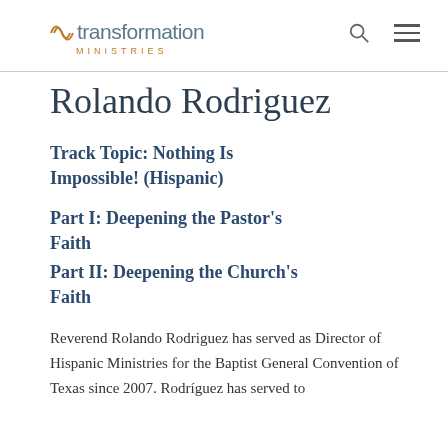transformation MINISTRIES
Rolando Rodriguez
Track Topic: Nothing Is Impossible! (Hispanic)
Part I: Deepening the Pastor's Faith
Part II: Deepening the Church's Faith
Reverend Rolando Rodriguez has served as Director of Hispanic Ministries for the Baptist General Convention of Texas since 2007. Rodríguez has served to